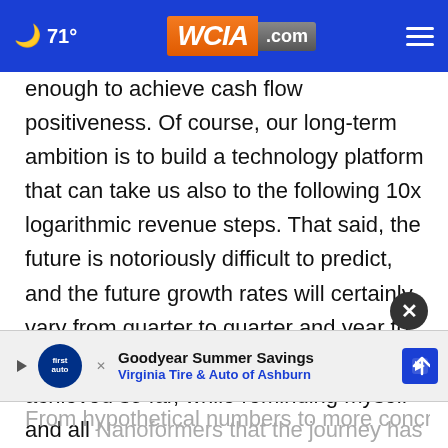71° WCIA.com [navigation menu]
enough to achieve cash flow positiveness. Of course, our long-term ambition is to build a technology platform that can take us also to the following 10x logarithmic revenue steps. That said, the future is notoriously difficult to predict, and the future growth rates will certainly vary from quarter to quarter and year to year, but still I feel proud of what we have achieved so far, while reminding myself and all Nanoformers that the journey has only begun.
[Figure (other): Goodyear Summer Savings advertisement banner - Virginia Tire & Auto of Ashburn]
From hypothetical numbers to more concrete